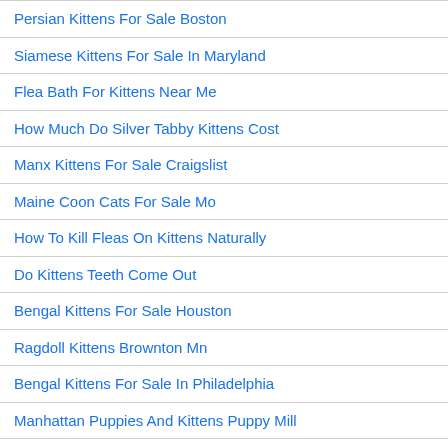Persian Kittens For Sale Boston
Siamese Kittens For Sale In Maryland
Flea Bath For Kittens Near Me
How Much Do Silver Tabby Kittens Cost
Manx Kittens For Sale Craigslist
Maine Coon Cats For Sale Mo
How To Kill Fleas On Kittens Naturally
Do Kittens Teeth Come Out
Bengal Kittens For Sale Houston
Ragdoll Kittens Brownton Mn
Bengal Kittens For Sale In Philadelphia
Manhattan Puppies And Kittens Puppy Mill
British Shorthair Kittens For Sale Scotland
Soy Baby Formula For Kittens
Oldcats Cat Tree Condo For Kittens